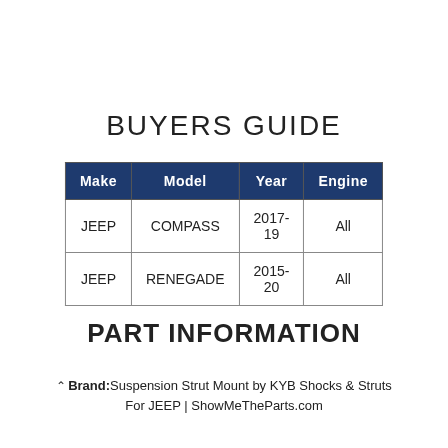BUYERS GUIDE
| Make | Model | Year | Engine |
| --- | --- | --- | --- |
| JEEP | COMPASS | 2017-19 | All |
| JEEP | RENEGADE | 2015-20 | All |
PART INFORMATION
Brand: Suspension Strut Mount by KYB Shocks & Struts For JEEP | ShowMeTheParts.com